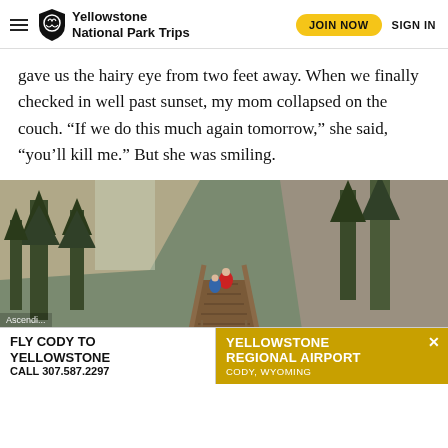Yellowstone National Park Trips | JOIN NOW | SIGN IN
gave us the hairy eye from two feet away. When we finally checked in well past sunset, my mom collapsed on the couch. “If we do this much again tomorrow,” she said, “you’ll kill me.” But she was smiling.
[Figure (photo): A steep metal staircase descending into a canyon at Yellowstone, flanked by evergreen trees and rocky canyon walls. Hikers visible ascending the stairs in the distance.]
Ascending...
FLY CODY TO YELLOWSTONE CALL 307.587.2297 | YELLOWSTONE REGIONAL AIRPORT CODY, WYOMING